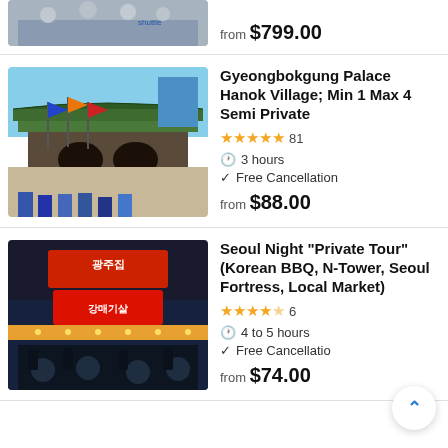[Figure (photo): Group photo at shuttle/tour company with people holding a banner, partially visible at top of page]
from $799.00
[Figure (photo): Gyeongbokgung Palace gate with colorful flags in foreground and blue sky]
Gyeongbokgung Palace Hanok Village; Min 1 Max 4 Semi Private
★★★★★ 81
3 hours
Free Cancellation
from $88.00
[Figure (photo): Seoul night market scene with Korean BBQ restaurant signs (광주집, 강매기살) lit up at night]
Seoul Night "Private Tour"(Korean BBQ, N-Tower, Seoul Fortress, Local Market)
★★★★½ 6
4 to 5 hours
Free Cancellation
from $74.00